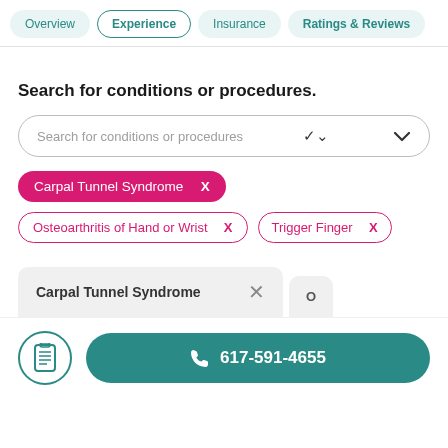Overview | Experience | Insurance | Ratings & Reviews
Search for conditions or procedures.
Search for conditions or procedures
Carpal Tunnel Syndrome  X
Osteoarthritis of Hand or Wrist  X
Trigger Finger  X
Carpal Tunnel Syndrome  ×
617-591-4655